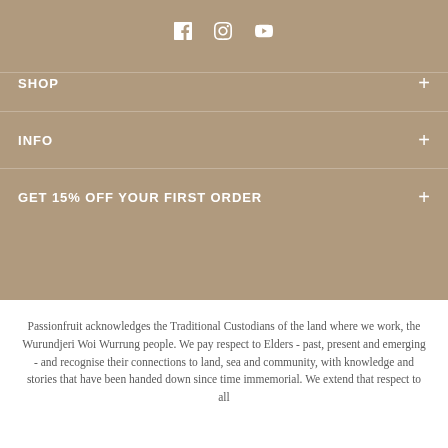[Figure (other): Social media icons: Facebook, Instagram, YouTube]
SHOP
INFO
GET 15% OFF YOUR FIRST ORDER
Passionfruit acknowledges the Traditional Custodians of the land where we work, the Wurundjeri Woi Wurrung people. We pay respect to Elders - past, present and emerging - and recognise their connections to land, sea and community, with knowledge and stories that have been handed down since time immemorial. We extend that respect to all